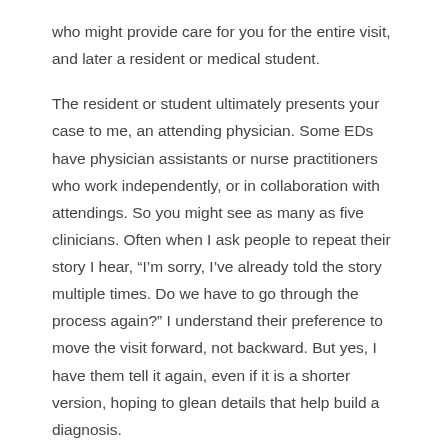who might provide care for you for the entire visit, and later a resident or medical student.
The resident or student ultimately presents your case to me, an attending physician. Some EDs have physician assistants or nurse practitioners who work independently, or in collaboration with attendings. So you might see as many as five clinicians. Often when I ask people to repeat their story I hear, “I’m sorry, I’ve already told the story multiple times. Do we have to go through the process again?” I understand their preference to move the visit forward, not backward. But yes, I have them tell it again, even if it is a shorter version, hoping to glean details that help build a diagnosis.
Why will you wait?
There are many reasons for lengthy waits, which grew still longer at many EDs during the pandemic. First, uniting the team into one